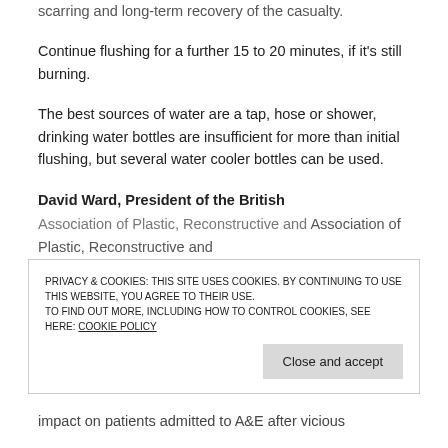scarring and long-term recovery of the casualty.
Continue flushing for a further 15 to 20 minutes, if it's still burning.
The best sources of water are a tap, hose or shower, drinking water bottles are insufficient for more than initial flushing, but several water cooler bottles can be used.
David Ward, President of the British Association of Plastic, Reconstructive and
PRIVACY & COOKIES: THIS SITE USES COOKIES. BY CONTINUING TO USE THIS WEBSITE, YOU AGREE TO THEIR USE. TO FIND OUT MORE, INCLUDING HOW TO CONTROL COOKIES, SEE HERE: COOKIE POLICY
impact on patients admitted to A&E after vicious